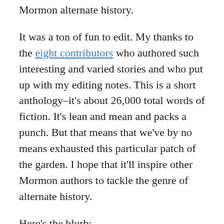Mormon alternate history.
It was a ton of fun to edit. My thanks to the eight contributors who authored such interesting and varied stories and who put up with my editing notes. This is a short anthology–it's about 26,000 total words of fiction. It's lean and mean and packs a punch. But that means that we've by no means exhausted this particular patch of the garden. I hope that it'll inspire other Mormon authors to tackle the genre of alternate history.
Here's the blurb:
What if the territory of Deseret had